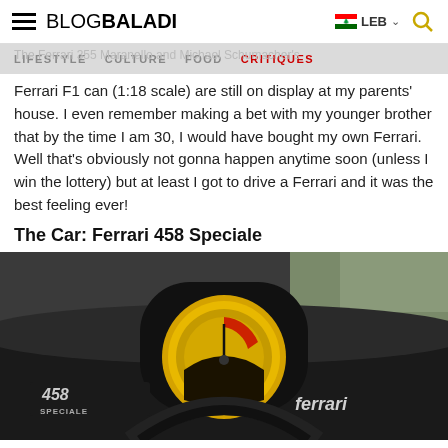BLOGBALADI | LEB
The Ferrari 355 Maranello and Michael Schumacher's Ferrari F1 can (1:18 scale) are still on display at my parents' house. I even remember making a bet with my younger brother that by the time I am 30, I would have bought my own Ferrari. Well that's obviously not gonna happen anytime soon (unless I win the lottery) but at least I got to drive a Ferrari and it was the best feeling ever!
The Car: Ferrari 458 Speciale
[Figure (photo): Dashboard interior photo of a Ferrari 458 Speciale, showing the yellow-dialed tachometer/speedometer gauge cluster in the center, with '458 SPECIALE' text on the left and 'ferrari' branding on the right of the dashboard.]